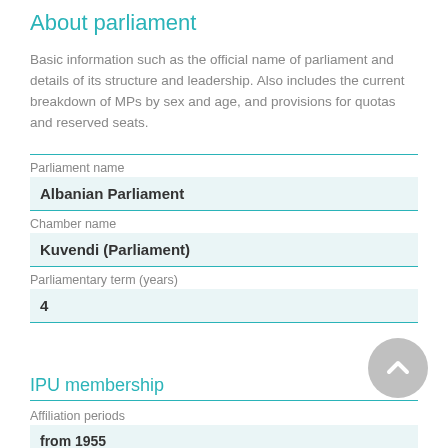About parliament
Basic information such as the official name of parliament and details of its structure and leadership. Also includes the current breakdown of MPs by sex and age, and provisions for quotas and reserved seats.
| Field | Value |
| --- | --- |
| Parliament name | Albanian Parliament |
| Chamber name | Kuvendi (Parliament) |
| Parliamentary term (years) | 4 |
IPU membership
Affiliation periods
from 1955